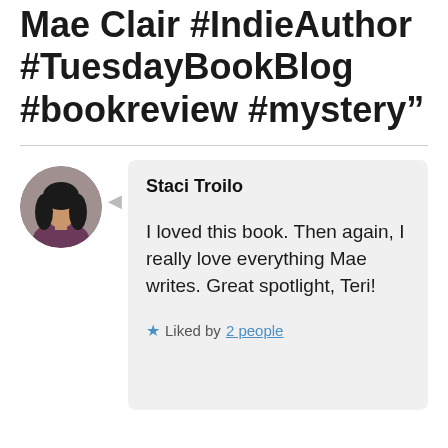Mae Clair #IndieAuthor #TuesdayBookBlog #bookreview #mystery”
Staci Troilo
I loved this book. Then again, I really love everything Mae writes. Great spotlight, Teri!
Liked by 2 people